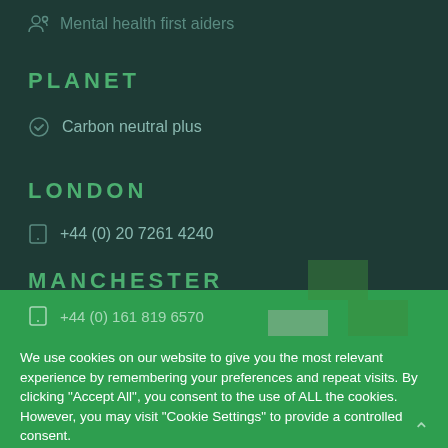Mental health first aiders
PLANET
Carbon neutral plus
LONDON
+44 (0) 20 7261 4240
MANCHESTER
+44 (0) 161 819 6570
[Figure (logo): Company logo — a plus/cross shape made of two arrow-like forms, one green and one grey/white]
We use cookies on our website to give you the most relevant experience by remembering your preferences and repeat visits. By clicking "Accept All", you consent to the use of ALL the cookies. However, you may visit "Cookie Settings" to provide a controlled consent.
BIRMINGHAM
+44 (0) 118 214 9340